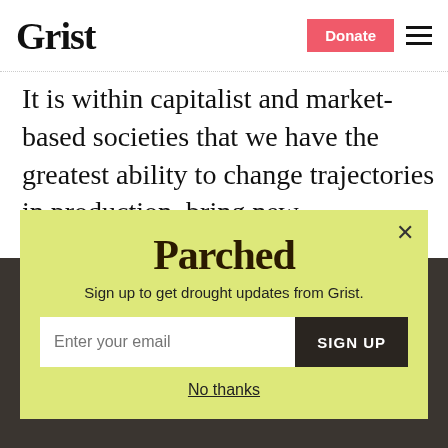Grist | Donate (button) | Menu
It is within capitalist and market-based societies that we have the greatest ability to change trajectories in production, bring new technologies on line, and respond to shifts in consumer demand. These are keys to a
Parched
Sign up to get drought updates from Grist.
Enter your email | SIGN UP
No thanks